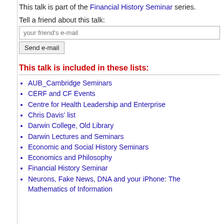This talk is part of the Financial History Seminar series.
Tell a friend about this talk:
your friend's e-mail
Send e-mail
This talk is included in these lists:
AUB_Cambridge Seminars
CERF and CF Events
Centre for Health Leadership and Enterprise
Chris Davis' list
Darwin College, Old Library
Darwin Lectures and Seminars
Economic and Social History Seminars
Economics and Philosophy
Financial History Seminar
Neurons, Fake News, DNA and your iPhone: The Mathematics of Information